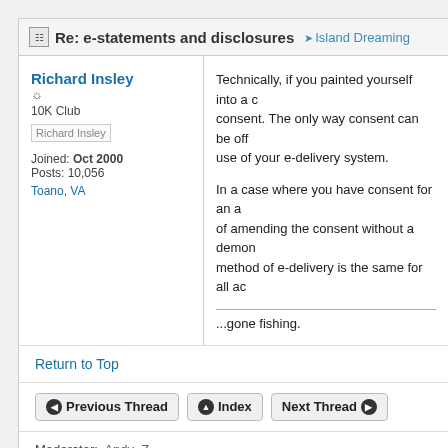Re: e-statements and disclosures → Island Dreaming
Richard Insley
10K Club
Joined: Oct 2000
Posts: 10,056
Toano, VA
Technically, if you painted yourself into a corner with consent. The only way consent can be offered... use of your e-delivery system.

In a case where you have consent for an account... of amending the consent without a demonstration... method of e-delivery is the same for all ac...

...gone fishing.
Return to Top
Previous Thread   Index   Next Thread
Moderator: Andy_Z